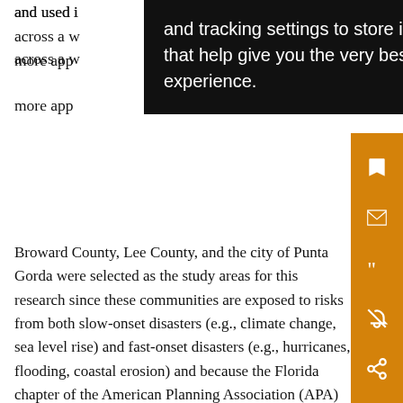and used i[n content management systems and across a w]ide variety of platforms. [A]nalysis more app[ropriate...]
[Figure (screenshot): Dark browser tooltip overlay showing text: 'and tracking settings to store information that help give you the very best browsing experience.']
Broward County, Lee County, and the city of Punta Gorda were selected as the study areas for this research since these communities are exposed to risks from both slow-onset disasters (e.g., climate change, sea level rise) and fast-onset disasters (e.g., hurricanes, flooding, coastal erosion) and because the Florida chapter of the American Planning Association (APA) highlighted these three places on their website as having exemplary plans for creating more resilient communities (APA Florida 2016; Fig. 1). For instance, Broward has its own Division of Environmental Planning and Community Resilience and received a grant from NOAA and the Florida Department